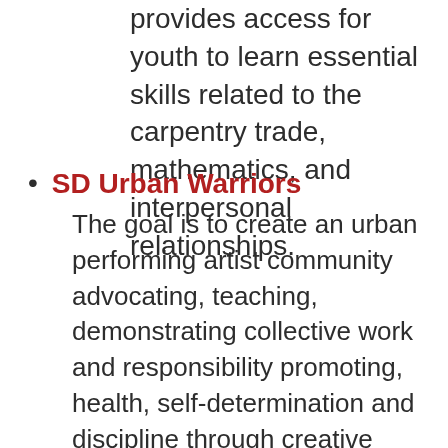provides access for youth to learn essential skills related to the carpentry trade, mathematics, and interpersonal relationships.
SD Urban Warriors
The goal is to create an urban performing artist community advocating, teaching, demonstrating collective work and responsibility promoting, health, self-determination and discipline through creative edutainment artistic experiences and exploration.